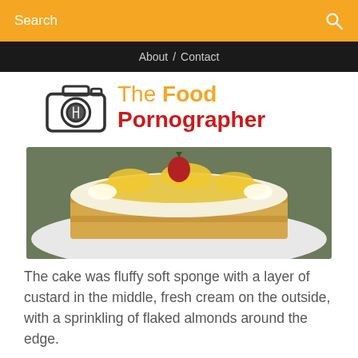Search
About / Contact
The Food Pornographer
[Figure (photo): Close-up top view of a decorated cake on a white plate, covered with flaked almonds on the outside layers, fresh cream, and topped with pineapple slices and a strawberry]
The cake was fluffy soft sponge with a layer of custard in the middle, fresh cream on the outside, with a sprinkling of flaked almonds around the edge.